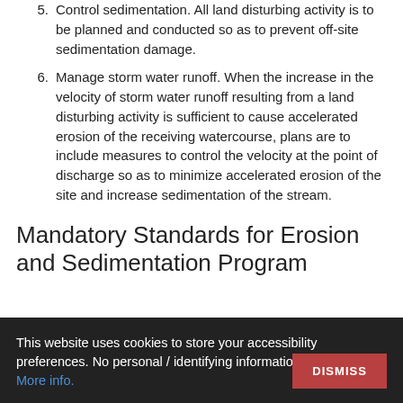5. Control sedimentation. All land disturbing activity is to be planned and conducted so as to prevent off-site sedimentation damage.
6. Manage storm water runoff. When the increase in the velocity of storm water runoff resulting from a land disturbing activity is sufficient to cause accelerated erosion of the receiving watercourse, plans are to include measures to control the velocity at the point of discharge so as to minimize accelerated erosion of the site and increase sedimentation of the stream.
Mandatory Standards for Erosion and Sedimentation Program
This website uses cookies to store your accessibility preferences. No personal / identifying information is stored. More info.